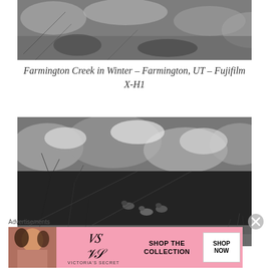[Figure (photo): Black and white aerial/close-up photo of Farmington Creek in winter, showing snow, rocks and water]
Farmington Creek in Winter – Farmington, UT – Fujifilm X-H1
[Figure (photo): Black and white photo of Farmington Creek in winter showing ducks swimming in dark water surrounded by snow-covered rocks, bare trees and dried grasses]
Advertisements
[Figure (other): Victoria's Secret advertisement banner with pink background, model photo, VS logo, and 'SHOP THE COLLECTION' text with 'SHOP NOW' button]